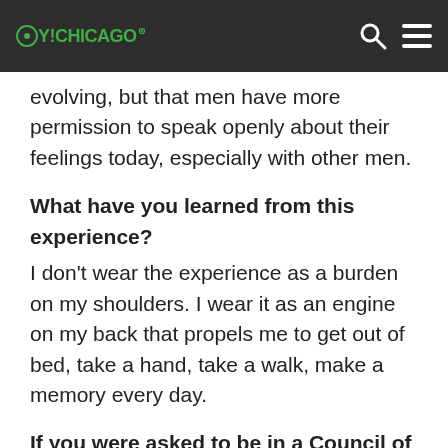OY!CHICAGO
evolving, but that men have more permission to speak openly about their feelings today, especially with other men.
What have you learned from this experience?
I don’t wear the experience as a burden on my shoulders. I wear it as an engine on my back that propels me to get out of bed, take a hand, take a walk, make a memory every day.
If you were asked to be in a Council of Dads, what is the most important “daddyism”—as you call it—that you would advise?
I was a walking guy, who had written the book Walking